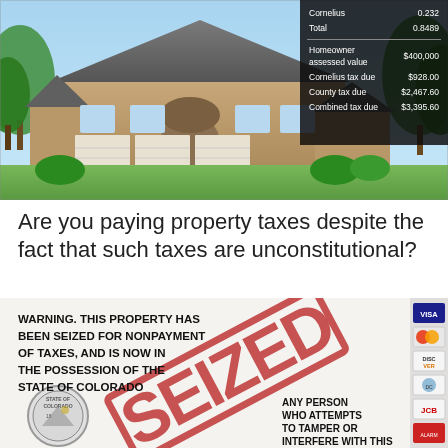[Figure (photo): Photo of a large suburban house with brick exterior, multiple garage doors, and manicured lawn. Overlaid in top-right is a dark tax information box showing Cornelius 0.232, Total 0.8489, Homeowner assessed value $400,000, Cornelius tax due $928.00, County tax due $2,467.60, Combined tax due $3,395.60]
Are you paying property taxes despite the fact that such taxes are unconstitutional?
[Figure (photo): Photo of a property seizure notice sign reading: WARNING. THIS PROPERTY HAS BEEN SEIZED FOR NONPAYMENT OF TAXES, AND IS NOW IN THE POSSESSION OF THE STATE OF COLORADO. A large red SEIZED stamp overlays the sign diagonally. Colorado state seal visible bottom left. Credit card logos (VISA, Mastercard, Discover, Diners Club, JCB) on right side. Text: ANY PERSON WHO ATTEMPTS TO TAMPER OR INTERFERE WITH THIS PROPERTY WILL BE [cut off]]